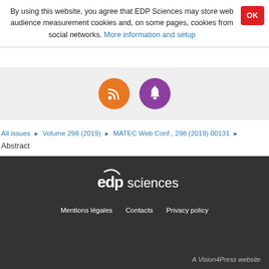By using this website, you agree that EDP Sciences may store web audience measurement cookies and, on some pages, cookies from social networks. More information and setup
[Figure (infographic): Orange circle with RSS feed icon and purple circle with bell/notification icon]
All issues ▶ Volume 298 (2019) ▶ MATEC Web Conf., 298 (2019) 00131 ▶ Abstract
Back to top
edp sciences — Mentions légales   Contacts   Privacy policy — A Vision4Press website